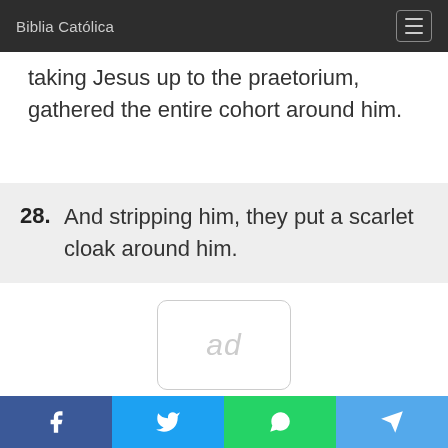Biblia Católica
taking Jesus up to the praetorium, gathered the entire cohort around him.
28. And stripping him, they put a scarlet cloak around him.
[Figure (other): Ad placeholder box with text 'ad']
Social sharing bar: Facebook, Twitter, WhatsApp, Telegram